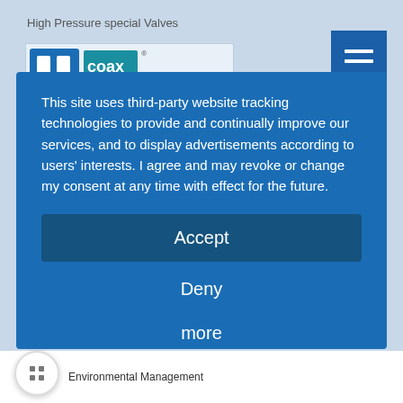High Pressure special Valves
[Figure (logo): Company logo partially visible behind modal]
This site uses third-party website tracking technologies to provide and continually improve our services, and to display advertisements according to users' interests. I agree and may revoke or change my consent at any time with effect for the future.
Accept
Deny
more
Powered by  usercentrics  &
Environmental Management